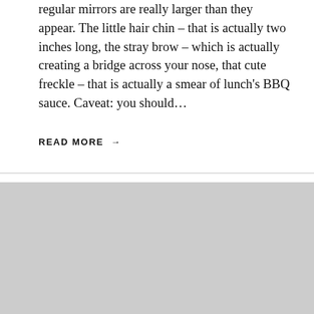regular mirrors are really larger than they appear. The little hair chin – that is actually two inches long, the stray brow – which is actually creating a bridge across your nose, that cute freckle – that is actually a smear of lunch's BBQ sauce. Caveat: you should…
READ MORE →
[Figure (photo): A colorfully decorated vintage VW bus/van parked with cars driving in the background. Overlaid text reads: ATTITUDE is the difference between an ORDEAL and an ADVENTURE. with 'ATTITUDE', 'difference between', 'an', 'and an' in yellow, and 'is the', 'ORDEAL', 'ADVENTURE.' in red.]